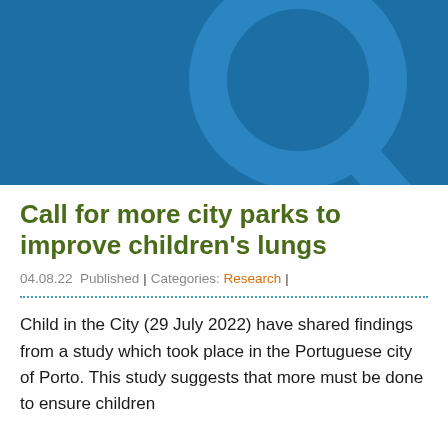[Figure (illustration): Dark blue banner with a large stylized magnifying glass icon rendered in a slightly lighter blue tone, positioned to the right side of the banner.]
Call for more city parks to improve children's lungs
04.08.22 Published | Categories: Research |
Child in the City (29 July 2022) have shared findings from a study which took place in the Portuguese city of Porto. This study suggests that more must be done to ensure children